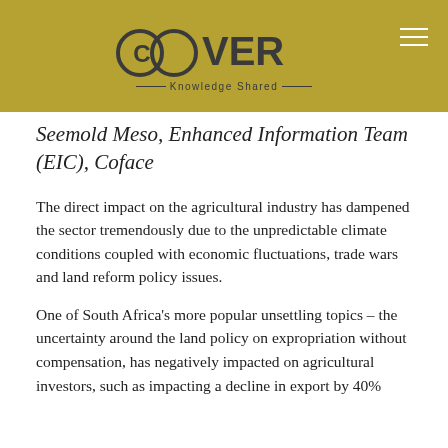COVER Knowledge Shared
Seemold Meso, Enhanced Information Team (EIC), Coface
The direct impact on the agricultural industry has dampened the sector tremendously due to the unpredictable climate conditions coupled with economic fluctuations, trade wars and land reform policy issues.
One of South Africa's more popular unsettling topics – the uncertainty around the land policy on expropriation without compensation, has negatively impacted on agricultural investors, such as impacting a decline in export by 40%